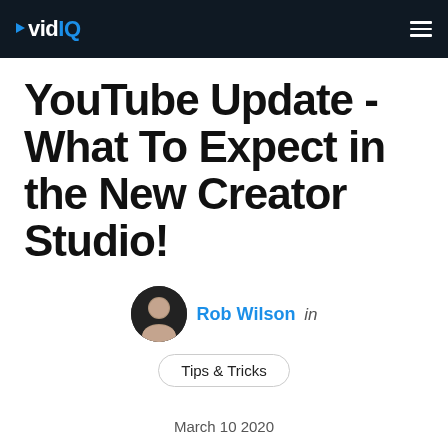vidIQ [hamburger menu]
YouTube Update - What To Expect in the New Creator Studio!
Rob Wilson in
Tips & Tricks
March 10 2020